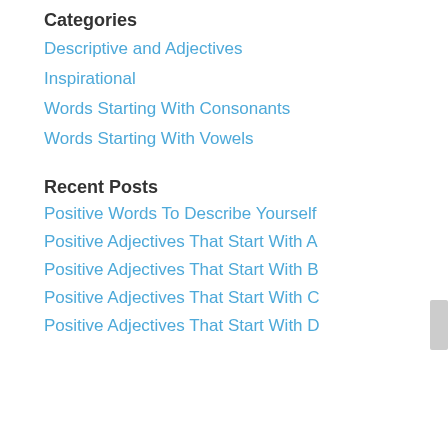Categories
Descriptive and Adjectives
Inspirational
Words Starting With Consonants
Words Starting With Vowels
Recent Posts
Positive Words To Describe Yourself
Positive Adjectives That Start With A
Positive Adjectives That Start With B
Positive Adjectives That Start With C
Positive Adjectives That Start With D